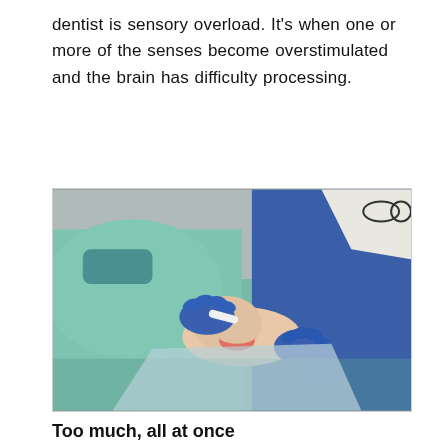dentist is sensory overload. It's when one or more of the senses become overstimulated and the brain has difficulty processing.
[Figure (photo): Two dental professionals in blue scrubs and blue gloves performing a dental procedure on a patient lying in a dental chair. The dentist on the left wears a teal/green gown and surgical mask. An assistant in blue stands on the right.]
Too much, all at once